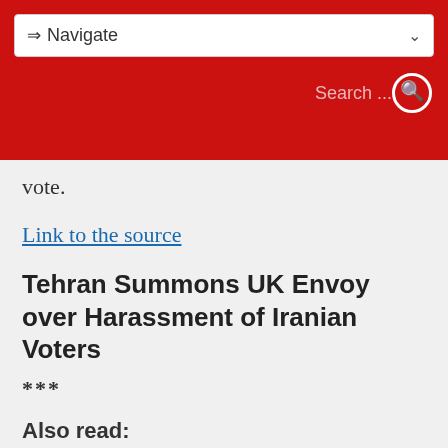Navigate | Search ...
vote.
Link to the source
Tehran Summons UK Envoy over Harassment of Iranian Voters
***
Also read:
https://iran-interlink.org/wordpress/western-support-for-terrorism-iran/
Western Support for Terrorism – Iran Condemns